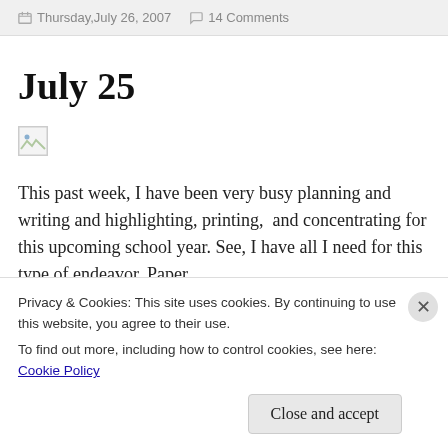Thursday,July 26, 2007  14 Comments
July 25
[Figure (photo): Broken/unloaded image placeholder]
This past week, I have been very busy planning and writing and highlighting, printing,  and concentrating for this upcoming school year. See, I have all I need for this type of endeavor. Paper,
Privacy & Cookies: This site uses cookies. By continuing to use this website, you agree to their use.
To find out more, including how to control cookies, see here: Cookie Policy
Close and accept